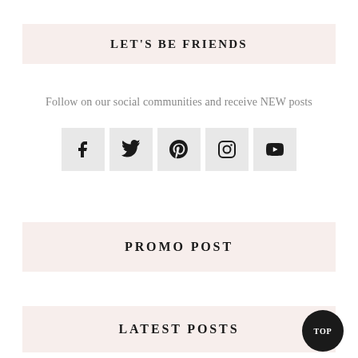LET'S BE FRIENDS
Follow on our social communities and receive NEW posts
[Figure (infographic): Five social media icon buttons in light gray square boxes: Facebook (f), Twitter (bird), Pinterest (p), Instagram (circle camera), YouTube (play button)]
PROMO POST
LATEST POSTS